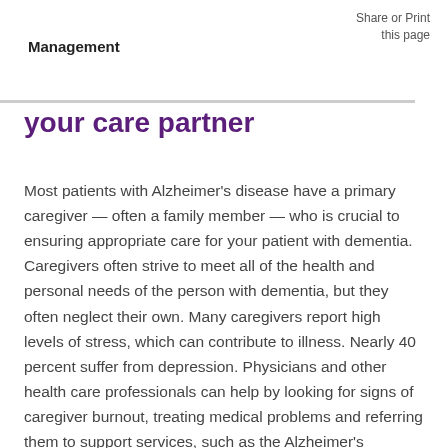Share or Print
this page
Management
your care partner
Most patients with Alzheimer's disease have a primary caregiver — often a family member — who is crucial to ensuring appropriate care for your patient with dementia. Caregivers often strive to meet all of the health and personal needs of the person with dementia, but they often neglect their own. Many caregivers report high levels of stress, which can contribute to illness. Nearly 40 percent suffer from depression. Physicians and other health care professionals can help by looking for signs of caregiver burnout, treating medical problems and referring them to support services, such as the Alzheimer's Association's 24/7 Helpline